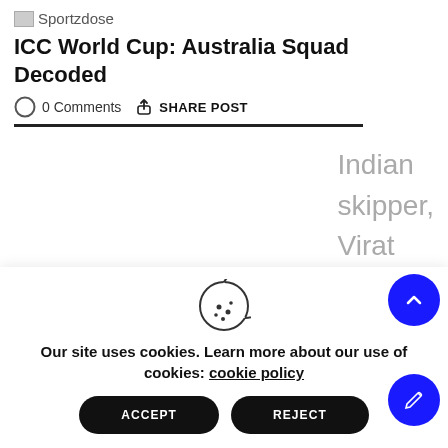Sportzdose
ICC World Cup: Australia Squad Decoded
0 Comments  SHARE POST
Indian skipper, Virat Kohli and
Our site uses cookies. Learn more about our use of cookies: cookie policy
ACCEPT
REJECT